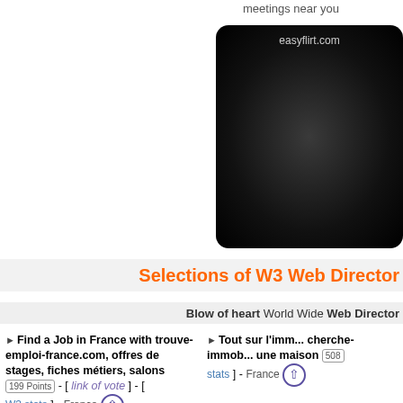meetings near you
[Figure (other): Advertisement box for easyflirt.com — dark rounded rectangle with label 'easyflirt.com' at top center]
Selections of W3 Web Directory
Blow of heart World Wide Web Directory
Find a Job in France with trouve-emploi-france.com, offres de stages, fiches métiers, salons 199 Points - [ link of vote ] - [ W3 stats ] - France
Tout sur l'imm... cherche-immob... une maison 508 ... stats ] - France